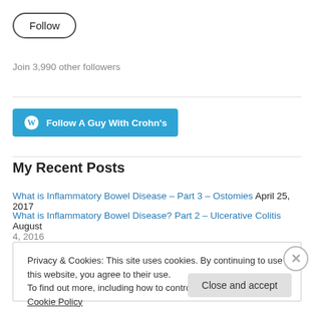Follow
Join 3,990 other followers
[Figure (other): WordPress Follow A Guy With Crohn's button (teal/blue rounded rectangle with WordPress logo)]
My Recent Posts
What is Inflammatory Bowel Disease – Part 3 – Ostomies April 25, 2017
What is Inflammatory Bowel Disease? Part 2 – Ulcerative Colitis August 4, 2016
Privacy & Cookies: This site uses cookies. By continuing to use this website, you agree to their use. To find out more, including how to control cookies, see here: Cookie Policy
Close and accept